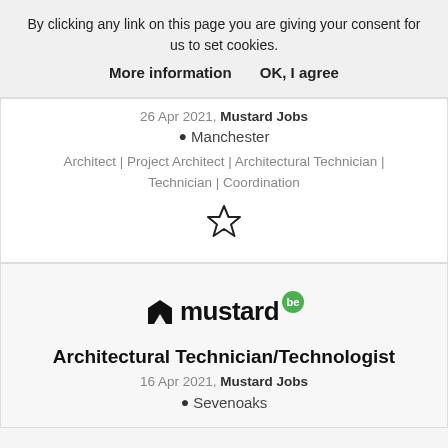By clicking any link on this page you are giving your consent for us to set cookies.
More information    OK, I agree
26 Apr 2021, Mustard Jobs
Manchester
Architect | Project Architect | Architectural Technician | Technician | Coordination
[Figure (illustration): Star/bookmark icon (outline star shape)]
[Figure (logo): Mustard Jobs logo with 'be' green badge]
Architectural Technician/Technologist
16 Apr 2021, Mustard Jobs
Sevenoaks